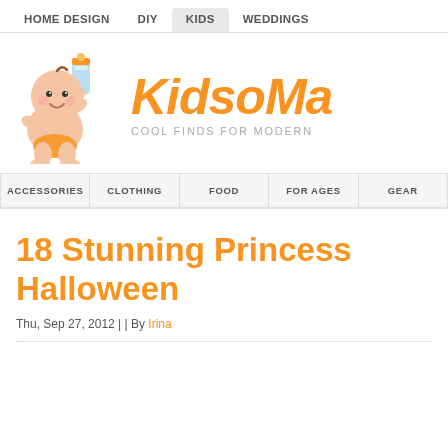HOME DESIGN  DIY  KIDS  WEDDINGS
[Figure (logo): KidsoMania logo with cartoon baby holding a milk bottle and text 'KIDSOMANIA - COOL FINDS FOR MODERN']
ACCESSORIES  CLOTHING  FOOD  FOR AGES  GEAR
18 Stunning Princess Halloween
Thu, Sep 27, 2012 | | By Irina